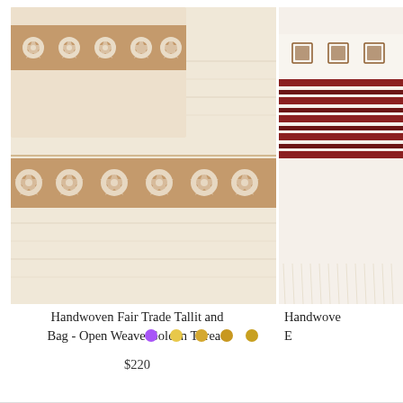[Figure (photo): A handwoven cream/off-white tallit with golden-brown decorative woven border pattern featuring floral/geometric motifs, photographed on a flat surface showing the fabric texture.]
[Figure (photo): Partially visible second product photo showing a tallit with dark red/maroon stripes and geometric embroidery patterns, cropped at the right edge.]
Handwoven Fair Trade Tallit and Bag - Open Weave Golden Thread
$220
Handwove E